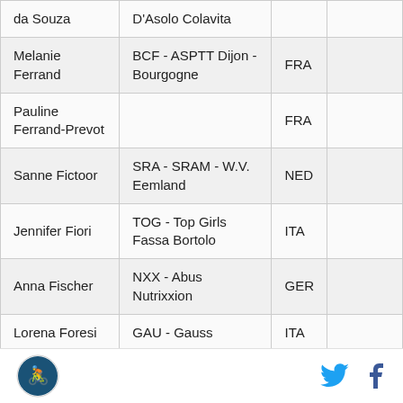| Name | Team | Country |  |
| --- | --- | --- | --- |
| da Souza | D'Asolo Colavita |  |  |
| Melanie Ferrand | BCF - ASPTT Dijon - Bourgogne | FRA |  |
| Pauline Ferrand-Prevot |  | FRA |  |
| Sanne Fictoor | SRA - SRAM - W.V. Eemland | NED |  |
| Jennifer Fiori | TOG - Top Girls Fassa Bortolo | ITA |  |
| Anna Fischer | NXX - Abus Nutrixxion | GER |  |
| Lorena Foresi | GAU - Gauss | ITA |  |
Logo, Twitter, Facebook social icons